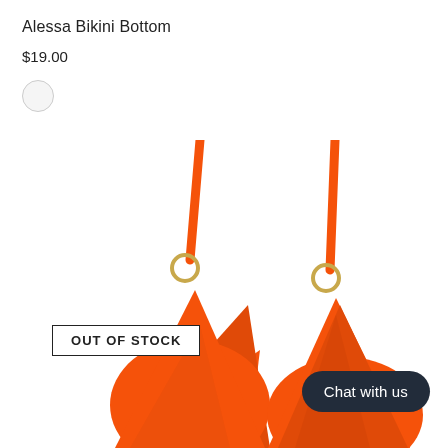Alessa Bikini Bottom
$19.00
[Figure (photo): Two orange bikini bottoms side by side, each with tie straps and a gold ring hardware detail, shown from above against a white background. A white badge with black text reads 'OUT OF STOCK' overlaid on the left item.]
Chat with us